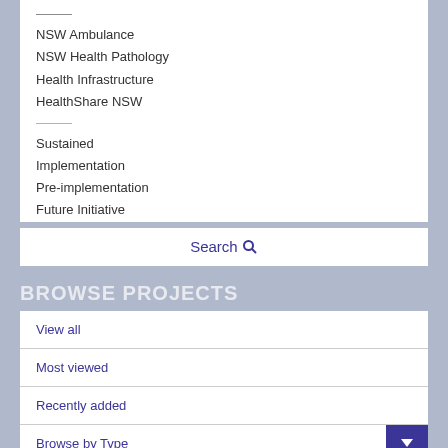NSW Ambulance
NSW Health Pathology
Health Infrastructure
HealthShare NSW
Health NSW (partially visible)
Sustained
Implementation
Pre-implementation
Future Initiative
Search
BROWSE PROJECTS
View all
Most viewed
Recently added
Browse by Type
Submit your local innovation